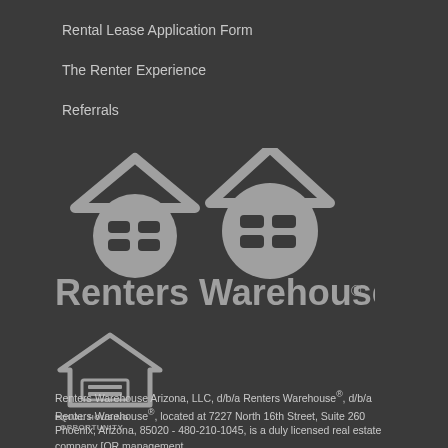Rental Lease Application Form
The Renter Experience
Referrals
[Figure (logo): Renters Warehouse logo with two house icons and the text 'Renters Warehouse' with registered trademark symbol]
[Figure (logo): Equal Housing Opportunity logo with house outline containing equal sign, and text 'EQUAL HOUSING OPPORTUNITY']
Renters Warehouse Arizona, LLC, d/b/a Renters Warehouse®, d/b/a Renters Warehouse®, located at 7227 North 16th Street, Suite 260 Phoenix, Arizona, 85020 - 480-210-1045, is a duly licensed real estate company [OR management